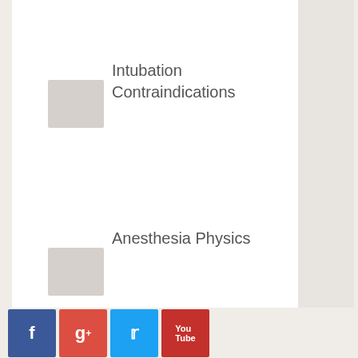Intubation Contraindications
Anesthesia Physics
[Figure (other): Social media share buttons: Facebook, Google+, Twitter, YouTube]
[Figure (other): Upward chevron navigation arrow]